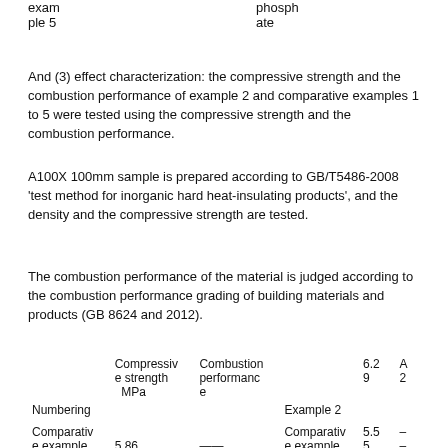| Numbering | Compressive strength MPa | Combustion performance | Example/Comparative | Value | Grade |
| --- | --- | --- | --- | --- | --- |
| exam ple 5 |  | phosph ate |  |  |  |
| Numbering | Compressive strength MPa | Combustion performance | Example 2 | 6.29 | A2 |
| Comparative example 1 | 5.86 | —— | Comparative example 2 | 5.5 5 | — — |
And (3) effect characterization: the compressive strength and the combustion performance of example 2 and comparative examples 1 to 5 were tested using the compressive strength and the combustion performance.
A100X 100mm sample is prepared according to GB/T5486-2008 'test method for inorganic hard heat-insulating products', and the density and the compressive strength are tested.
The combustion performance of the material is judged according to the combustion performance grading of building materials and products (GB 8624 and 2012).
| Numbering | Compressive strength MPa | Combustion performance |  |  |
| --- | --- | --- | --- | --- |
| Example 2 | 6.29 | A2 |  |  |
| Comparative example 1 | 5.86 | —— | Comparative example 2 | 5.55 — |